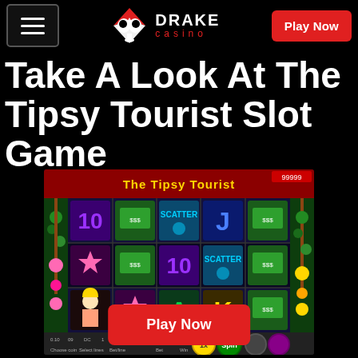Drake Casino — Play Now
Take A Look At The Tipsy Tourist Slot Game
[Figure (screenshot): Screenshot of The Tipsy Tourist slot game showing a 5-reel slot with symbols including 10, J, K, A, SCATTER, starfish, and a blonde female character. Interface shows Spin button, Bet, Win fields at the bottom.]
Play Now